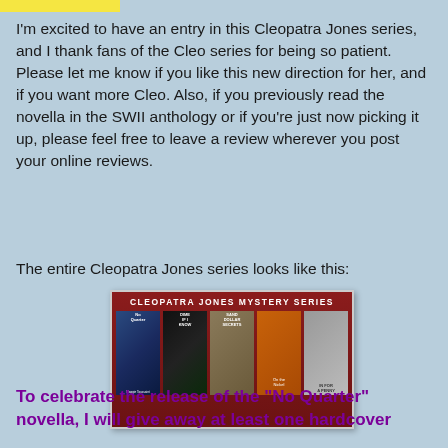[Figure (other): Yellow highlighted bar at the top of the page]
I'm excited to have an entry in this Cleopatra Jones series, and I thank fans of the Cleo series for being so patient. Please let me know if you like this new direction for her, and if you want more Cleo. Also, if you previously read the novella in the SWII anthology or if you're just now picking it up, please feel free to leave a review wherever you post your online reviews.
The entire Cleopatra Jones series looks like this:
[Figure (illustration): Banner image for the Cleopatra Jones Mystery Series showing book covers: No Quarter, Dime If I Know, Sand Dollar Secrets, and other titles in the series, displayed on a dark red background with the series title in white text at the top.]
To celebrate the release of the "No Quarter" novella, I will give away at least one hardcover